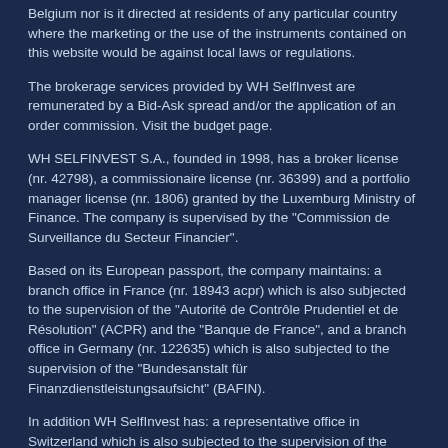Belgium nor is it directed at residents of any particular country where the marketing or the use of the instruments contained on this website would be against local laws or regulations.
The brokerage services provided by WH SelfInvest are remunerated by a Bid-Ask spread and/or the application of an order commission. Visit the budget page.
WH SELFINVEST S.A., founded in 1998, has a broker license (nr. 42798), a commissionaire license (nr. 36399) and a portfolio manager license (nr. 1806) granted by the Luxemburg Ministry of Finance. The company is supervised by the "Commission de Surveillance du Secteur Financier".
Based on its European passport, the company maintains: a branch office in France (nr. 18943 acpr) which is also subjected to the supervision of the "Autorité de Contrôle Prudentiel et de Résolution" (ACPR) and the "Banque de France", and a branch office in Germany (nr. 122635) which is also subjected to the supervision of the "Bundesanstalt für Finanzdienstleistungsaufsicht" (BAFIN).
In addition WH SelfInvest has: a representative office in Switzerland which is also subjected to the supervision of the "Swiss Financial Market Supervisory Authority" (FINMA), a